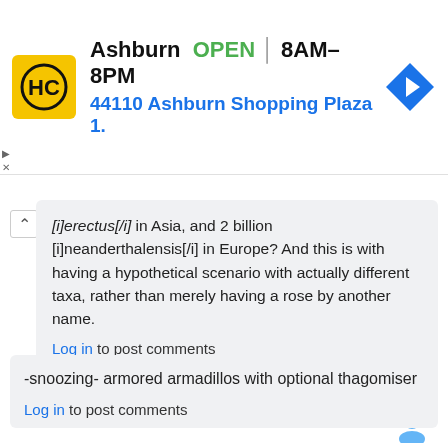[Figure (screenshot): Ad banner for HC (Harvest Chicken) in Ashburn. Shows logo (yellow square with HC), text 'Ashburn OPEN 8AM–8PM', address '44110 Ashburn Shopping Plaza 1.', blue navigation arrow icon.]
[i]erectus[/i] in Asia, and 2 billion [i]neanderthalensis[/i] in Europe? And this is with having a hypothetical scenario with actually different taxa, rather than merely having a rose by another name.
Log in to post comments
By Miley Cyrax (not verified) on 29 Dec 2010
#permalink
-snoozing- armored armadillos with optional thagomiser
Log in to post comments